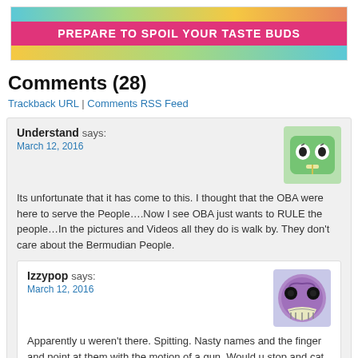[Figure (illustration): Blog header banner with colorful gradient stripes (teal, green, yellow, orange) and a pink center bar with white bold text: PREPARE TO SPOIL YOUR TASTE BUDS]
Comments (28)
Trackback URL | Comments RSS Feed
Understand says:
March 12, 2016
Its unfortunate that it has come to this. I thought that the OBA were here to serve the People….Now I see OBA just wants to RULE the people…In the pictures and Videos all they do is walk by. They don't care about the Bermudian People.
Izzypop says:
March 12, 2016
Apparently u weren't there. Spitting. Nasty names and the finger and point at them with the motion of a gun. Would u stop and cat